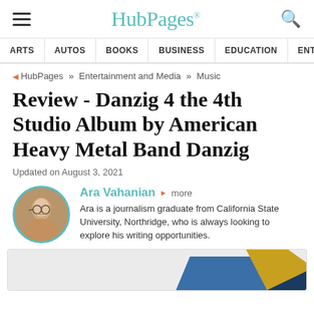HubPages
ARTS | AUTOS | BOOKS | BUSINESS | EDUCATION | ENTERTA
HubPages » Entertainment and Media » Music
Review - Danzig 4 the 4th Studio Album by American Heavy Metal Band Danzig
Updated on August 3, 2021
Ara Vahanian more
Ara is a journalism graduate from California State University, Northridge, who is always looking to explore his writing opportunities.
[Figure (photo): Partial view of an album cover at the bottom of the page]